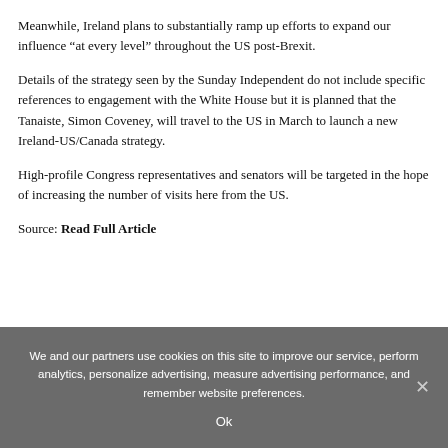Meanwhile, Ireland plans to substantially ramp up efforts to expand our influence “at every level” throughout the US post-Brexit.
Details of the strategy seen by the Sunday Independent do not include specific references to engagement with the White House but it is planned that the Tanaiste, Simon Coveney, will travel to the US in March to launch a new Ireland-US/Canada strategy.
High-profile Congress representatives and senators will be targeted in the hope of increasing the number of visits here from the US.
Source: Read Full Article
We and our partners use cookies on this site to improve our service, perform analytics, personalize advertising, measure advertising performance, and remember website preferences.
Ok